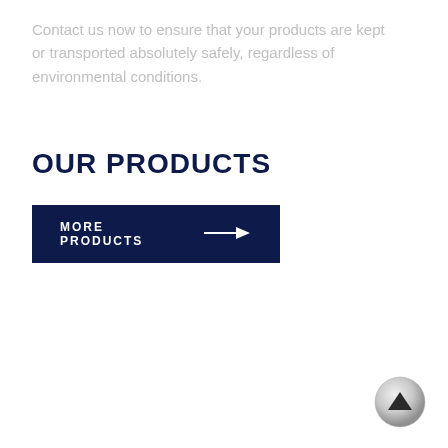Contact us now to ensure that your products are kept or transported absolutely safely, regardless of environmental conditions.
OUR PRODUCTS
[Figure (other): Dark navy blue button/banner with text 'MORE PRODUCTS' and a right-pointing arrow]
[Figure (other): Circular scroll-to-top button, silver/grey with an upward pointing triangle arrow]